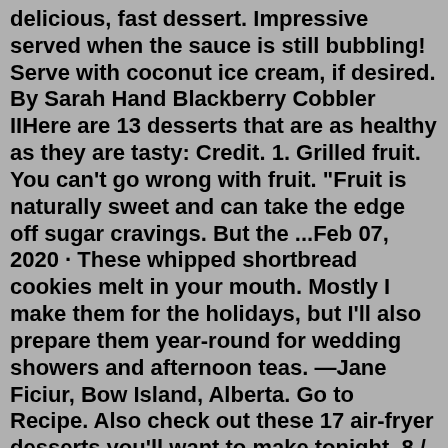delicious, fast dessert. Impressive served when the sauce is still bubbling! Serve with coconut ice cream, if desired. By Sarah Hand Blackberry Cobbler IIHere are 13 desserts that are as healthy as they are tasty: Credit. 1. Grilled fruit. You can't go wrong with fruit. "Fruit is naturally sweet and can take the edge off sugar cravings. But the ...Feb 07, 2020 · These whipped shortbread cookies melt in your mouth. Mostly I make them for the holidays, but I'll also prepare them year-round for wedding showers and afternoon teas. —Jane Ficiur, Bow Island, Alberta. Go to Recipe. Also check out these 17 air-fryer desserts you'll want to make tonight. 8 / 30. Taste of Home. 30 Chocolate Pudding Crepe Cake. Charles Schiller. Alternating layers of wafer-thin crepes and chocolate pudding make for a deliciously different dessert. To slice the cake, use a long, sharp knife and cut in a smooth sawing motion. Wipe the knife between each cut.Here are some of our favorite frozen chocolate desserts to enjoy in the summer (and year-round, too). Stuffed Brownie That Utterly Destroys...